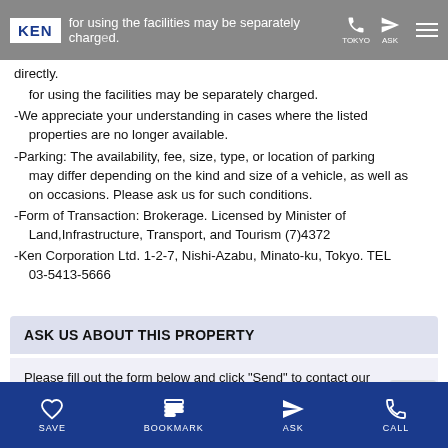KEN [logo] - TOKYO ASK navigation bar
directly.
for using the facilities may be separately charged.
-We appreciate your understanding in cases where the listed properties are no longer available.
-Parking: The availability, fee, size, type, or location of parking may differ depending on the kind and size of a vehicle, as well as on occasions. Please ask us for such conditions.
-Form of Transaction: Brokerage. Licensed by Minister of Land,Infrastructure, Transport, and Tourism (7)4372
-Ken Corporation Ltd. 1-2-7, Nishi-Azabu, Minato-ku, Tokyo. TEL 03-5413-5666
ASK US ABOUT THIS PROPERTY
Please fill out the form below and click "Send" to contact our agent.
Fields marked with * are mandatory.
▶ Contact with your bookmarks
SAVE  BOOKMARK  ASK  CALL